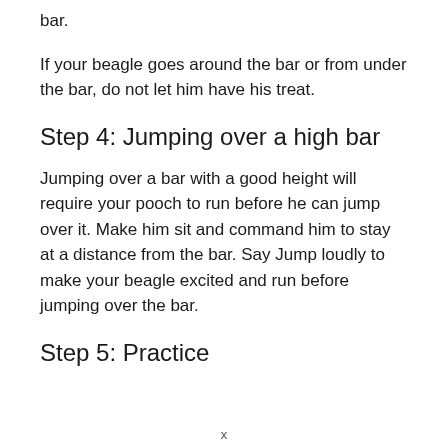bar.
If your beagle goes around the bar or from under the bar, do not let him have his treat.
Step 4: Jumping over a high bar
Jumping over a bar with a good height will require your pooch to run before he can jump over it. Make him sit and command him to stay at a distance from the bar. Say Jump loudly to make your beagle excited and run before jumping over the bar.
Step 5: Practice
x